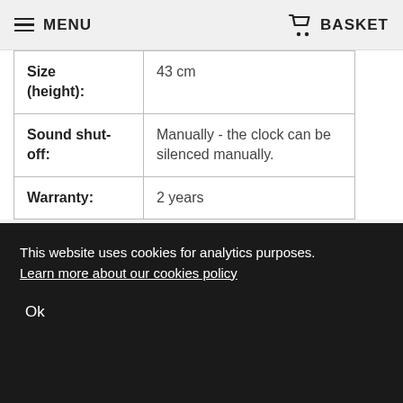MENU   BASKET
| Property | Value |
| --- | --- |
| Size (height): | 43 cm |
| Sound shut-off: | Manually - the clock can be silenced manually. |
| Warranty: | 2 years |
[Figure (screenshot): YouTube video thumbnail with logo and title 'Cuckoo Clock Made i...' with three-dot menu icon on black background]
This website uses cookies for analytics purposes. Learn more about our cookies policy
Ok